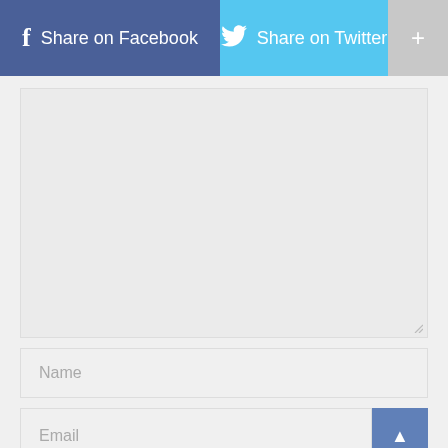[Figure (screenshot): Social share bar with Facebook (blue), Twitter (light blue), and plus (+) button (gray)]
[Figure (screenshot): Large empty text area input field with resize handle in bottom right corner]
Name
Email